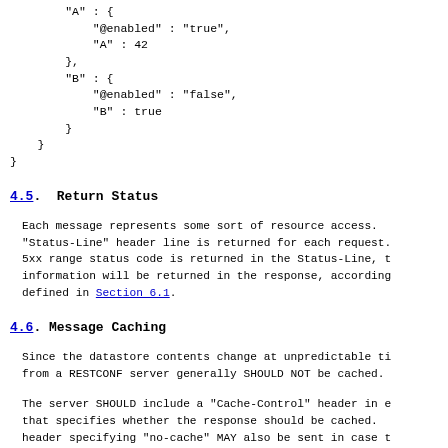"@owner" : "fred",
        "A" : {
            "@enabled" : "true",
            "A" : 42
        },
        "B" : {
            "@enabled" : "false",
            "B" : true
        }
    }
}
4.5. Return Status
Each message represents some sort of resource access. A "Status-Line" header line is returned for each request. If a 5xx range status code is returned in the Status-Line, then error information will be returned in the response, according to rules defined in Section 6.1.
4.6. Message Caching
Since the datastore contents change at unpredictable times, responses from a RESTCONF server generally SHOULD NOT be cached.
The server SHOULD include a "Cache-Control" header in each response that specifies whether the response should be cached. A "Pragma" header specifying "no-cache" MAY also be sent in case the "Cache-Control" header is not supported.